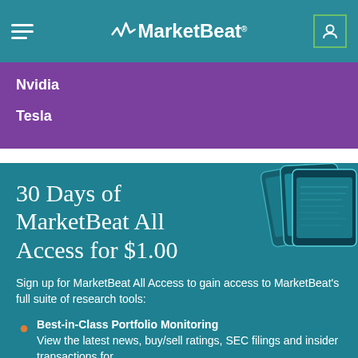MarketBeat
Nvidia
Tesla
30 Days of MarketBeat All Access for $1.00
Sign up for MarketBeat All Access to gain access to MarketBeat's full suite of research tools:
Best-in-Class Portfolio Monitoring
View the latest news, buy/sell ratings, SEC filings and insider transactions for